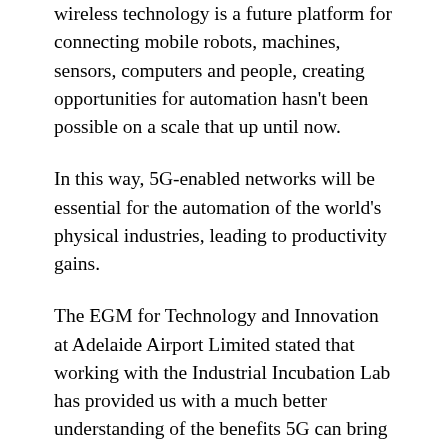wireless technology is a future platform for connecting mobile robots, machines, sensors, computers and people, creating opportunities for automation hasn't been possible on a scale that up until now.
In this way, 5G-enabled networks will be essential for the automation of the world's physical industries, leading to productivity gains.
The EGM for Technology and Innovation at Adelaide Airport Limited stated that working with the Industrial Incubation Lab has provided us with a much better understanding of the benefits 5G can bring to our airport's business.
The telecom has already hired two full-time engineers to work on the National 5G Industrial